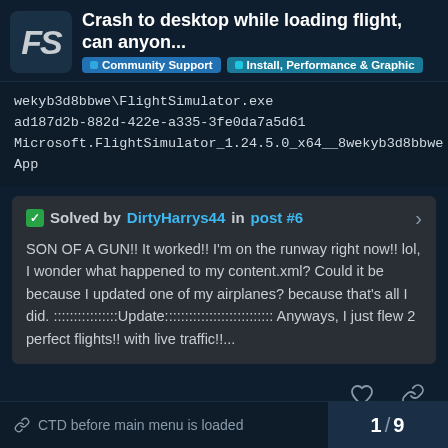Crash to desktop while loading flight, can anyon... | Community Support | Install, Performance & Graphic
wekyb3d8bbwe\FlightSimulator.exe
ad187d2b-882d-422e-a335-3fe0da7a5d61
Microsoft.FlightSimulator_1.24.5.0_x64__8wekyb3d8bbwe
App
✅ Solved by DirtyHarrys44 in post #6
SON OF A GUN!! It worked!! I'm on the runway right now!! lol, I wonder what happened to my content.xml? Could it be because I updated one of my airplanes? because that's all I did. ::::::::::::::::Update::::::::::::::::::::::::::: Anyways, I just flew 2 perfect flights!! with live traffic!!...
CTD before main menu is loaded  1 / 9